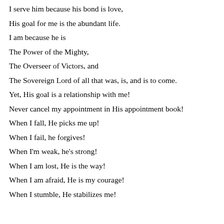I serve him because his bond is love,
His goal for me is the abundant life.
I am because he is
The Power of the Mighty,
The Overseer of Victors, and
The Sovereign Lord of all that was, is, and is to come.
Yet, His goal is a relationship with me!
Never cancel my appointment in His appointment book!
When I fall, He picks me up!
When I fail, he forgives!
When I'm weak, he's strong!
When I am lost, He is the way!
When I am afraid, He is my courage!
When I stumble, He stabilizes me!